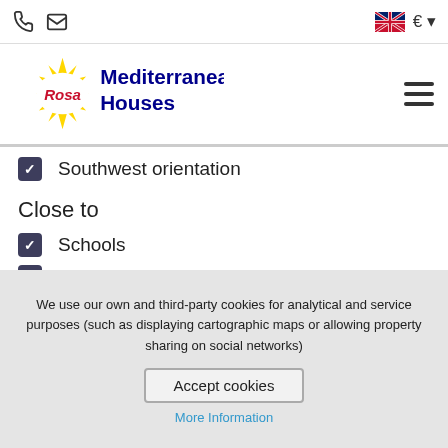Rosa Mediterranean Houses — navigation header with phone, email, flag, currency icons and hamburger menu
Southwest orientation
Close to
Schools
Hospitals
Shopping centers
Restaurants
Leisure
Sports areas
We use our own and third-party cookies for analytical and service purposes (such as displaying cartographic maps or allowing property sharing on social networks)
Accept cookies
More Information